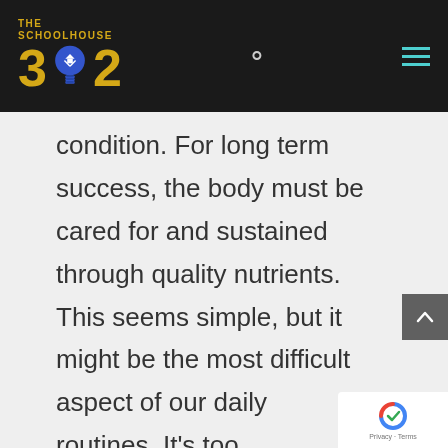[Figure (logo): The Schoolhouse 302 logo with gold text and blue lightbulb on dark background, plus search and hamburger menu icons]
condition. For long term success, the body must be cared for and sustained through quality nutrients. This seems simple, but it might be the most difficult aspect of our daily routines. It’s too